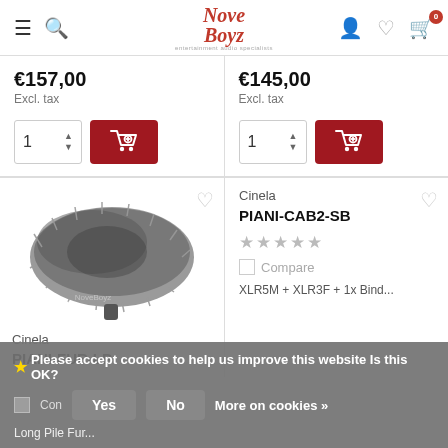NoveBoyz - entertainment audio specialists
€157,00
Excl. tax
€145,00
Excl. tax
[Figure (photo): Product image of Cinela PIANI-FUR-LP fur windscreen, grey fluffy microphone wind muff]
Cinela
PIANI-FUR-LP
Cinela
PIANI-CAB2-SB
★★★★★
Compare
XLR5M + XLR3F + 1x Bind...
★ Please accept cookies to help us improve this website Is this OK?
Yes  No  More on cookies »
Long Pile Fur...